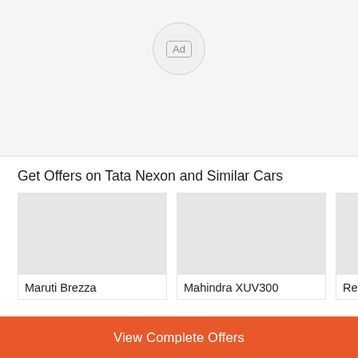[Figure (other): Ad badge — circular grey button with 'Ad' label in rounded rectangle]
Get Offers on Tata Nexon and Similar Cars
[Figure (other): Maruti Brezza car card with grey image placeholder]
[Figure (other): Mahindra XUV300 car card with grey image placeholder]
[Figure (other): Renault Ki... car card with grey image placeholder (partially visible)]
View Complete Offers